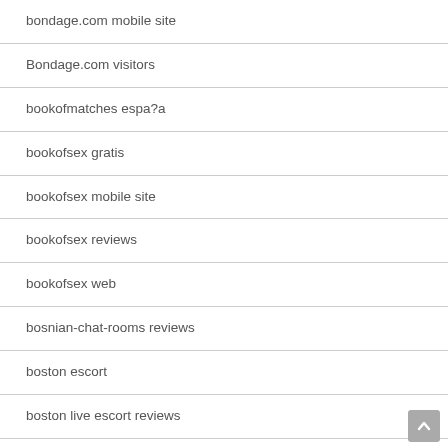bondage.com mobile site
Bondage.com visitors
bookofmatches espa?a
bookofsex gratis
bookofsex mobile site
bookofsex reviews
bookofsex web
bosnian-chat-rooms reviews
boston escort
boston live escort reviews
boulder escort service
bournemouth sugar babies
brazilcupid login